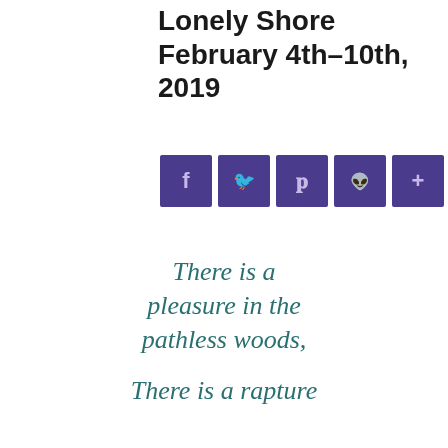Lonely Shore February 4th-10th, 2019
[Figure (infographic): Six purple square social media sharing buttons: Facebook (f), Twitter (bird), Pinterest (p), Reddit (alien), plus (+), minus (-)]
There is a pleasure in the pathless woods,
There is a rapture